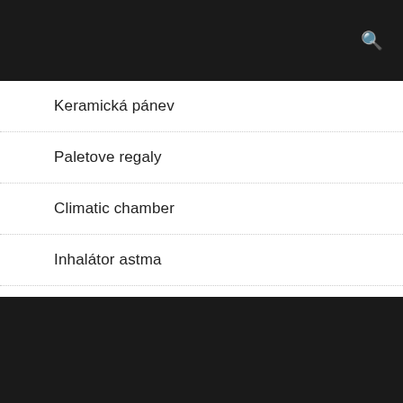Keramická pánev
Paletove regaly
Climatic chamber
Inhalátor astma
Parní trouba recenze